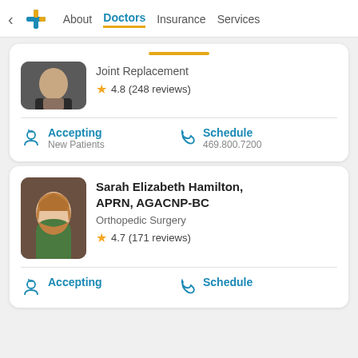About | Doctors | Insurance | Services
Joint Replacement
★ 4.8 (248 reviews)
Accepting New Patients | Schedule 469.800.7200
Sarah Elizabeth Hamilton, APRN, AGACNP-BC
Orthopedic Surgery
★ 4.7 (171 reviews)
Accepting | Schedule